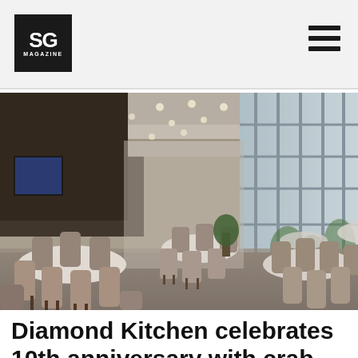SG MAGAZINE
[Figure (photo): Interior of Diamond Kitchen restaurant showing a large dining hall with round tables draped in white tablecloths, upholstered grey chairs, high ceilings with recessed lighting, and floor-to-ceiling glass windows on the right side with greenery visible outside.]
Diamond Kitchen celebrates 10th anniversary with crab deals